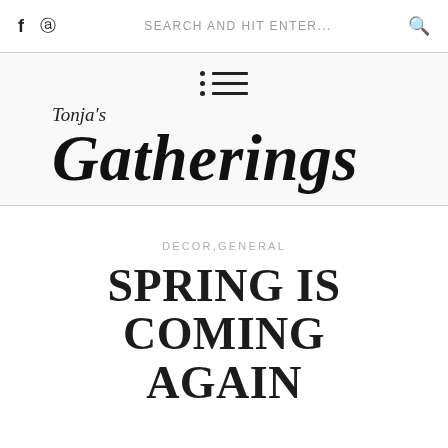f  ⊕  SEARCH AND HIT ENTER...  🔍
[Figure (logo): Tonja's Gatherings blog logo with menu icon, italic script text]
DECOR, GENERAL
SPRING IS COMING AGAIN